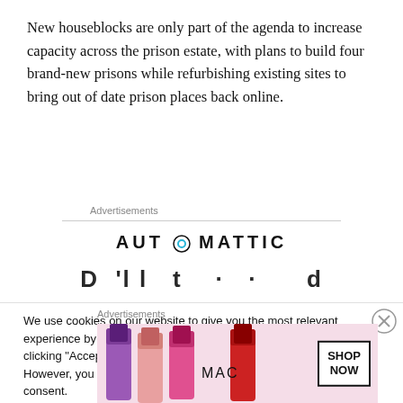New houseblocks are only part of the agenda to increase capacity across the prison estate, with plans to build four brand-new prisons while refurbishing existing sites to bring out of date prison places back online.
[Figure (logo): Automattic logo with stylized 'O' containing a blue circle/target symbol]
[Figure (other): Partially visible bold text row, cropped — appears to be a heading or advertisement text beginning with letters 'D', 'l', 't', 'd']
We use cookies on our website to give you the most relevant experience by remembering your preferences and repeat visits. By clicking "Accept All", you consent to the use of ALL the cookies. However, you may visit "Cookie Settings" to provide a controlled consent.
[Figure (other): MAC Cosmetics advertisement showing colourful lipsticks with MAC logo and SHOP NOW call-to-action box]